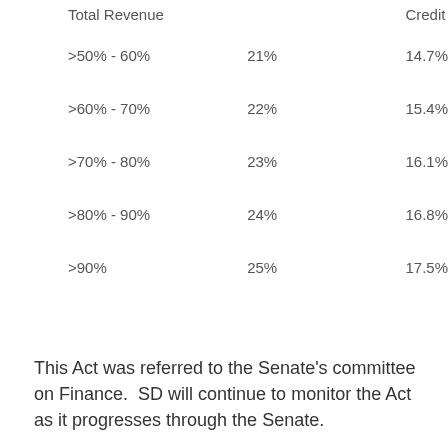| Total Revenue |  | Credit |
| --- | --- | --- |
| >50% - 60% | 21% | 14.7% |
| >60% - 70% | 22% | 15.4% |
| >70% - 80% | 23% | 16.1% |
| >80% - 90% | 24% | 16.8% |
| >90% | 25% | 17.5% |
This Act was referred to the Senate's committee on Finance.  SD will continue to monitor the Act as it progresses through the Senate.